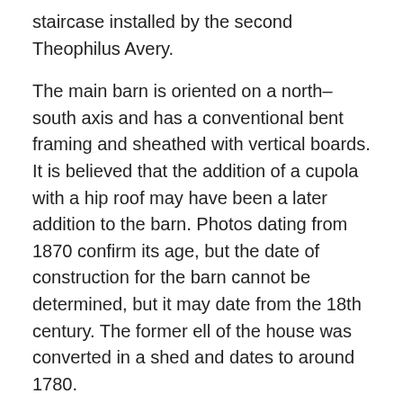staircase installed by the second Theophilus Avery.
The main barn is oriented on a north–south axis and has a conventional bent framing and sheathed with vertical boards. It is believed that the addition of a cupola with a hip roof may have been a later addition to the barn. Photos dating from 1870 confirm its age, but the date of construction for the barn cannot be determined, but it may date from the 18th century. The former ell of the house was converted in a shed and dates to around 1780.
Owners
More than twelve generations of the Avery family have resided in the Avery Homestead. The original house was constructed about 1696 by William Morgan, around the time of his marriage to Margaret Avery. The two were